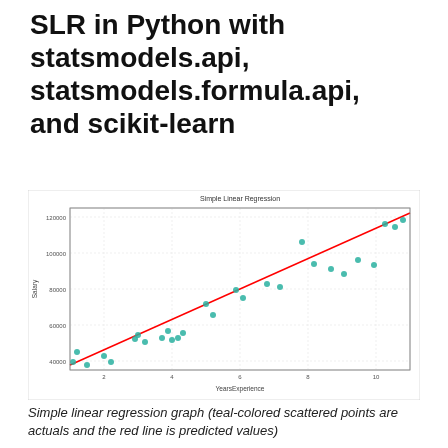SLR in Python with statsmodels.api, statsmodels.formula.api, and scikit-learn
[Figure (continuous-plot): Scatter plot with teal-colored data points showing actual salary vs years of experience, overlaid with a red regression line showing predicted values. X-axis ranges from 1 to 11 (YearsExperience), Y-axis ranges from approximately 35000 to 125000 (Salary).]
Simple linear regression graph (teal-colored scattered points are actuals and the red line is predicted values)